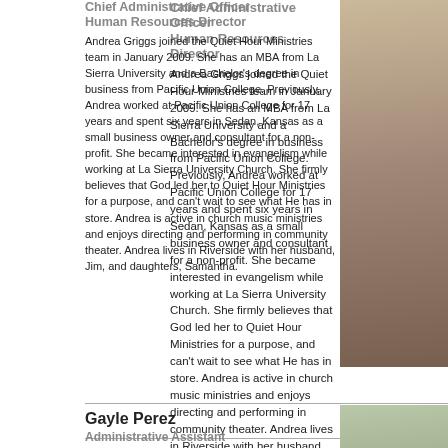Chief Administrative Officer
Human Resources Director
Andrea Griggs joined the Quiet Hour Ministries team in January 2009. She has an MBA from La Sierra University and a Bachelor's degree in business from Pacific Union College. Previously, Andrea worked at Pacific Union College for 17 years and spent six years in Sedan, Kansas as a small business owner and consultant for a non-profit. She became interested in evangelism while working at La Sierra University Church. She firmly believes that God led her to Quiet Hour Ministries for a purpose, and can't wait to see what He has in store. Andrea is active in church music ministries and enjoys directing and performing in community theater. Andrea lives in Riverside with her husband, Jim, and daughters, Samantha.
[Figure (photo): Portrait photo of Andrea Griggs]
Gayle Perez
Administrative Assistant
Gayle joined Quiet Hour Ministries in May 2003. In our Finance Department, she deals with accounts payable, payroll and staff benefits programs. In our Administration Department she assists the president/CEO and human resources director. Gayle is co-manager (with her husband) of three well-adjusted and intelligent kids and they live in Redlands.
[Figure (photo): Portrait photo of Gayle Perez]
Noudaing Stumpf
Receptionist
[Figure (photo): Portrait photo of Noudaing Stumpf]